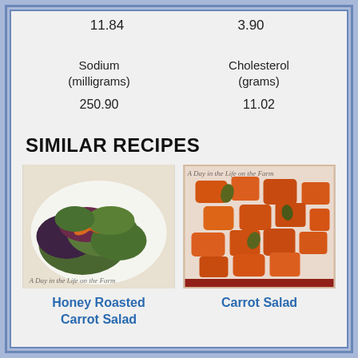| Sodium (milligrams) | Cholesterol (grams) |
| --- | --- |
| 250.90 | 11.02 |
11.84    3.90
SIMILAR RECIPES
[Figure (photo): Photo of Honey Roasted Carrot Salad - green mixed salad leaves with roasted carrots on a white plate, watermark 'A Day in the Life on the Farm']
[Figure (photo): Photo of Carrot Salad - braised/glazed carrot chunks with vegetables in sauce on a white plate, watermark 'A Day in the Life on the Farm']
Honey Roasted Carrot Salad
Carrot Salad